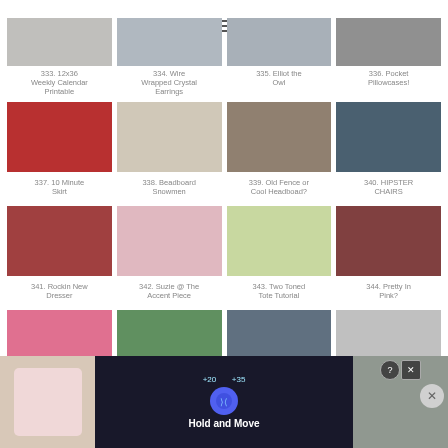[Figure (screenshot): Hamburger/menu icon at top center of page]
[Figure (screenshot): Grid of DIY/craft project thumbnails numbered 333-348 with captions]
333. 12x36 Weekly Calendar Printable
334. Wire Wrapped Crystal Earrings
335. Elliot the Owl
336. Pocket Pillowcases!
337. 10 Minute Skirt
338. Beadboard Snowmen
339. Old Fence or Cool Headboad?
340. HIPSTER CHAIRS
341. Rockin New Dresser
342. Suzie @ The Accent Piece
343. Two Toned Tote Tutorial
344. Pretty In Pink?
[Figure (screenshot): Advertisement overlay at bottom: Hold and Move mobile game ad]